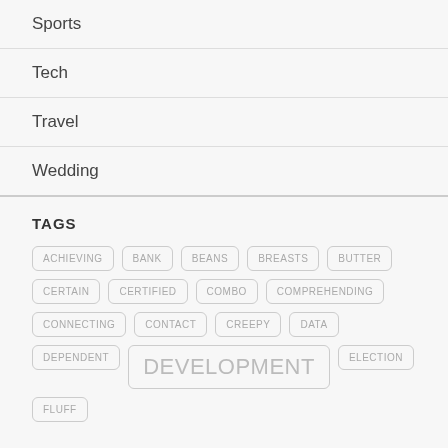Sports
Tech
Travel
Wedding
TAGS
ACHIEVING BANK BEANS BREASTS BUTTER CERTAIN CERTIFIED COMBO COMPREHENDING CONNECTING CONTACT CREEPY DATA DEPENDENT DEVELOPMENT ELECTION FLUFF